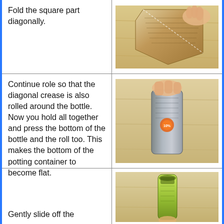Fold the square part diagonally.
[Figure (photo): Hands folding a piece of newspaper diagonally on a wooden surface]
Continue role so that the diagonal crease is also rolled around the bottle. Now you hold all together and press the bottom of the bottle and the roll too. This makes the bottom of the potting container to become flat.
[Figure (photo): Hand pressing the bottom of a newspaper-rolled bottle on a wooden surface, forming a flat bottom for a potting container]
Gently slide off the
[Figure (photo): A completed newspaper potting container being slid off the bottle, showing the inside with soil or plant material]